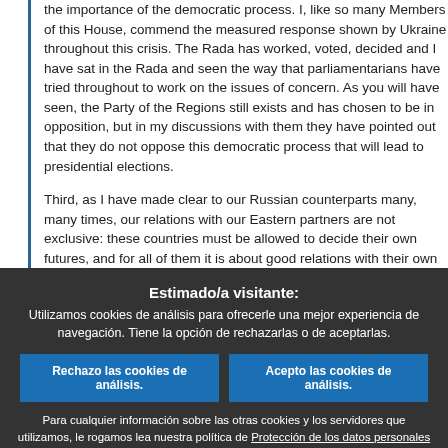the importance of the democratic process. I, like so many Members of this House, commend the measured response shown by Ukraine throughout this crisis. The Rada has worked, voted, decided and I have sat in the Rada and seen the way that parliamentarians have tried throughout to work on the issues of concern. As you will have seen, the Party of the Regions still exists and has chosen to be in opposition, but in my discussions with them they have pointed out that they do not oppose this democratic process that will lead to presidential elections.
Third, as I have made clear to our Russian counterparts many, many times, our relations with our Eastern partners are not exclusive: these countries must be allowed to decide their own futures, and for all of them it is about good relations with their own neighbours as well. So these three elements, as well as the response that we have to make, are the areas of work that we continue to deal with on a day-by-day basis.
Estimado/a visitante:
Utilizamos cookies de análisis para ofrecerle una mejor experiencia de navegación. Tiene la opción de rechazarlas o de aceptarlas.
Rechazo las cookies de análisis.
Acepto las cookies de análisis.
Para cualquier información sobre las otras cookies y los servidores que utilizamos, le rogamos lea nuestra política de Protección de los datos personales , nuestra Política de cookies y nuestro Inventario de cookies.